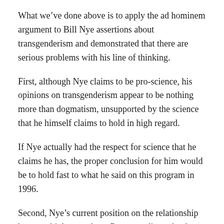What we've done above is to apply the ad hominem argument to Bill Nye assertions about transgenderism and demonstrated that there are serious problems with his line of thinking.
First, although Nye claims to be pro-science, his opinions on transgenderism appear to be nothing more than dogmatism, unsupported by the science that he himself claims to hold in high regard.
If Nye actually had the respect for science that he claims he has, the proper conclusion for him would be to hold fast to what he said on this program in 1996.
Second, Nye's current position on the relationship between biology and sex flat contradicts what he said on his own show twenty years ago, but he has attempted to conceal this from his audience.